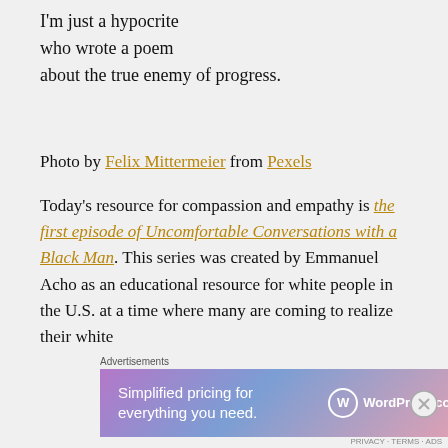I'm just a hypocrite
who wrote a poem
about the true enemy of progress.
Photo by Felix Mittermeier from Pexels
Today's resource for compassion and empathy is the first episode of Uncomfortable Conversations with a Black Man. This series was created by Emmanuel Acho as an educational resource for white people in the U.S. at a time where many are coming to realize their white
[Figure (infographic): WordPress.com advertisement banner with gradient purple-blue-pink background reading 'Simplified pricing for everything you need.' with WordPress.com logo]
Advertisements